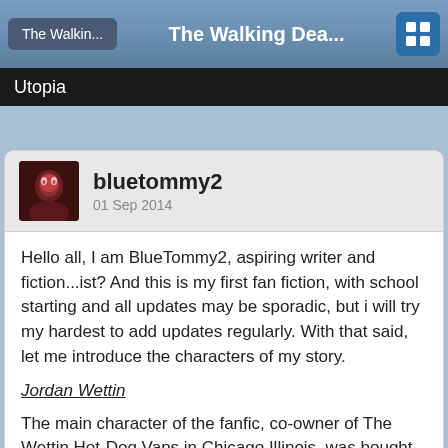The Walkin...    The Walking Dea...
Utopia
bluetommy2
01 Sep 2014
Hello all, I am BlueTommy2, aspiring writer and fiction...ist? And this is my first fan fiction, with school starting and all updates may be sporadic, but i will try my hardest to add updates regularly. With that said, let me introduce the characters of my story.
Jordan Wettin
The main character of the fanfic, co-owner of The Wettin Hot-Dog Vans in Chicago Illinois, was bought out by his partner and retired at the age of 34 with a few hundreds under his belt, moved to a small country town known as Sherton, Tennessee
Gus Simmons